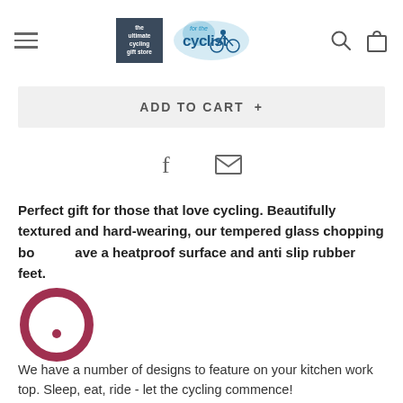the ultimate cycling gift store — for the cyclist [logo] [search icon] [cart icon]
ADD TO CART +
[Figure (illustration): Facebook and email share icons]
Perfect gift for those that love cycling. Beautifully textured and hard-wearing, our tempered glass chopping boards have a heatproof surface and anti slip rubber feet.
We have a number of designs to feature on your kitchen work top. Sleep, eat, ride - let the cycling commence!